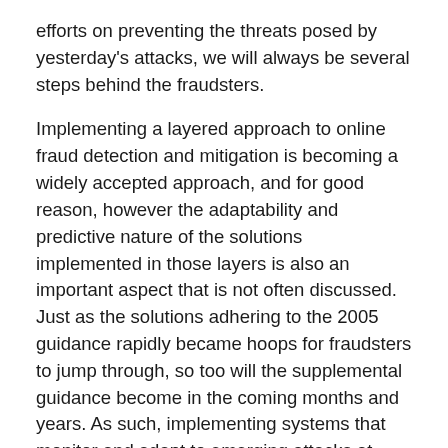efforts on preventing the threats posed by yesterday's attacks, we will always be several steps behind the fraudsters.
Implementing a layered approach to online fraud detection and mitigation is becoming a widely accepted approach, and for good reason, however the adaptability and predictive nature of the solutions implemented in those layers is also an important aspect that is not often discussed. Just as the solutions adhering to the 2005 guidance rapidly became hoops for fraudsters to jump through, so too will the supplemental guidance become in the coming months and years. As such, implementing systems that monitor and adapt to emerging attacks at various levels can begin to level the playing field.
Moreover, implementing such systems can reduce the churn required as more static and